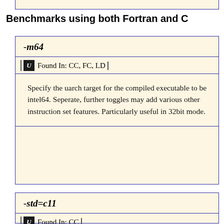Benchmarks using both Fortran and C
-m64
Found In: CC, FC, LD
Specify the uarch target for the compiled executable to be intel64. Seperate, further toggles may add various other instruction set features. Particularly useful in 32bit mode.
-std=c11
Found In: CC